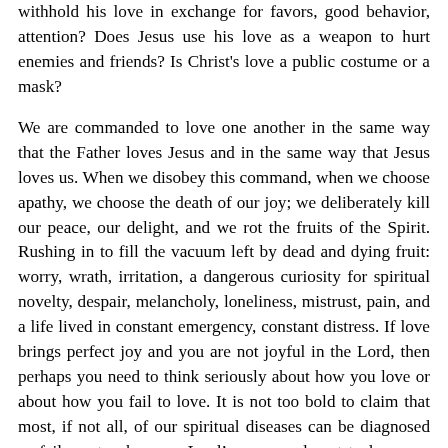withhold his love in exchange for favors, good behavior, attention? Does Jesus use his love as a weapon to hurt enemies and friends? Is Christ's love a public costume or a mask?
We are commanded to love one another in the same way that the Father loves Jesus and in the same way that Jesus loves us. When we disobey this command, when we choose apathy, we choose the death of our joy; we deliberately kill our peace, our delight, and we rot the fruits of the Spirit. Rushing in to fill the vacuum left by dead and dying fruit: worry, wrath, irritation, a dangerous curiosity for spiritual novelty, despair, melancholy, loneliness, mistrust, pain, and a life lived in constant emergency, constant distress. If love brings perfect joy and you are not joyful in the Lord, then perhaps you need to think seriously about how you love or about how you fail to love. It is not too bold to claim that most, if not all, of our spiritual diseases can be diagnosed as failures to obey our Lord's commandment to love one another. John writes to us in his letter this morning: “Whoever is without love does not know God, for God is love.” No love, no God; no joy, no peace.